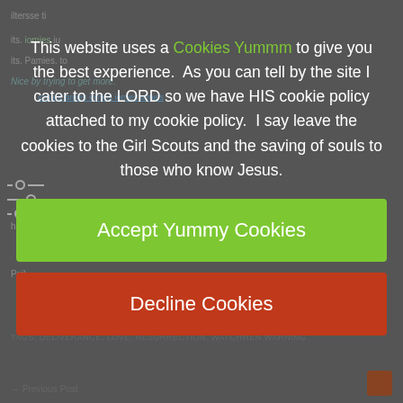This website uses a Cookies Yummm to give you the best experience.  As you can tell by the site I cater to the LORD so we have HIS cookie policy attached to my cookie policy.  I say leave the cookies to the Girl Scouts and the saving of souls to those who know Jesus.
Accept Yummy Cookies
Decline Cookies
TAGS: DELIVERANCE, LOVE, RESURRECTION, WATCHMEN WARNING
← Previous Post